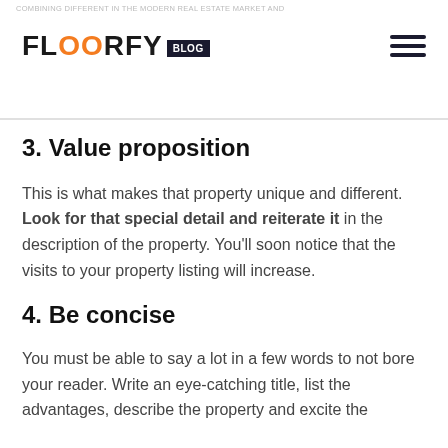COMBINING DIFFERENT IN THE MODERN REAL ESTATE MARKET AND
[Figure (logo): Floorfy Blog logo with orange double-O letters and dark blue BLOG tag]
3. Value proposition
This is what makes that property unique and different. Look for that special detail and reiterate it in the description of the property. You'll soon notice that the visits to your property listing will increase.
4. Be concise
You must be able to say a lot in a few words to not bore your reader. Write an eye-catching title, list the advantages, describe the property and excite the